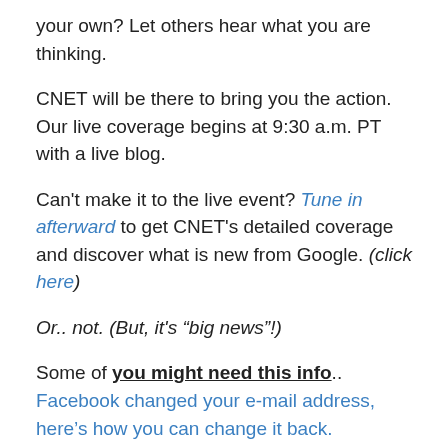your own? Let others hear what you are thinking.
CNET will be there to bring you the action. Our live coverage begins at 9:30 a.m. PT with a live blog.
Can't make it to the live event? Tune in afterward to get CNET's detailed coverage and discover what is new from Google. (click here)
Or.. not. (But, it's “big news”!)
Some of you might need this info.. Facebook changed your e-mail address, here’s how you can change it back.
“Today, Facebook was kind enough to replace the e-mail account listed on your profile with the @Facebook.com e-mail address it provided you with awhile back. Wait, you didn’t give Facebook permission to make the change? No